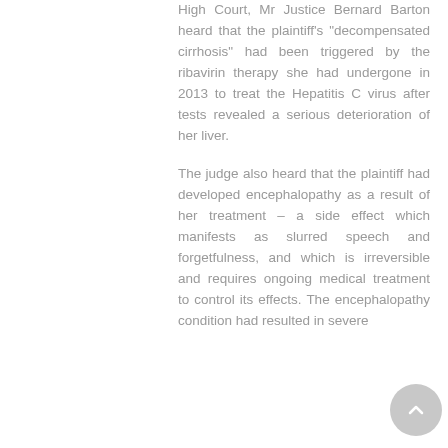High Court, Mr Justice Bernard Barton heard that the plaintiff's "decompensated cirrhosis" had been triggered by the ribavirin therapy she had undergone in 2013 to treat the Hepatitis C virus after tests revealed a serious deterioration of her liver.
The judge also heard that the plaintiff had developed encephalopathy as a result of her treatment – a side effect which manifests as slurred speech and forgetfulness, and which is irreversible and requires ongoing medical treatment to control its effects. The encephalopathy condition had resulted in severe